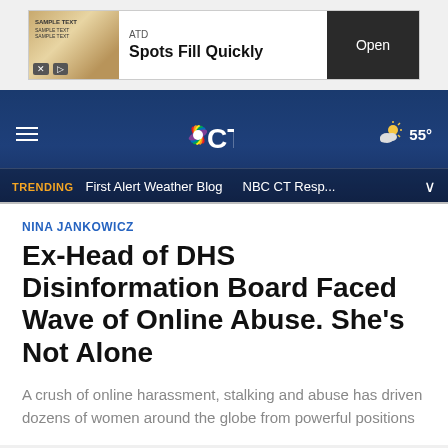[Figure (screenshot): Advertisement banner: ATD 'Spots Fill Quickly' with Open button]
[Figure (screenshot): NBC CT navigation bar with hamburger menu, NBC CT logo, weather icon showing 55°, trending bar with 'TRENDING', 'First Alert Weather Blog', 'NBC CT Resp...' links]
NINA JANKOWICZ
Ex-Head of DHS Disinformation Board Faced Wave of Online Abuse. She's Not Alone
A crush of online harassment, stalking and abuse has driven dozens of women around the globe from powerful positions